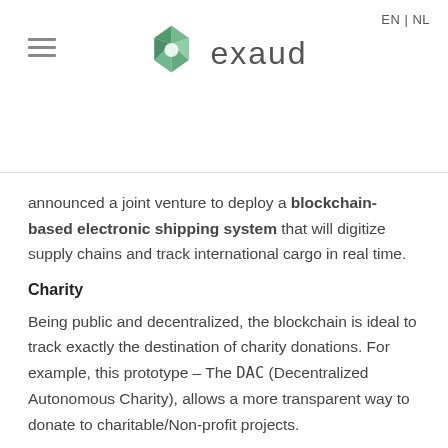EN | NL — exaud logo
announced a joint venture to deploy a blockchain-based electronic shipping system that will digitize supply chains and track international cargo in real time.
Charity
Being public and decentralized, the blockchain is ideal to track exactly the destination of charity donations. For example, this prototype – The DAC (Decentralized Autonomous Charity), allows a more transparent way to donate to charitable/Non-profit projects.
Pros/Cons
| Pros |
| --- |
|  |  |